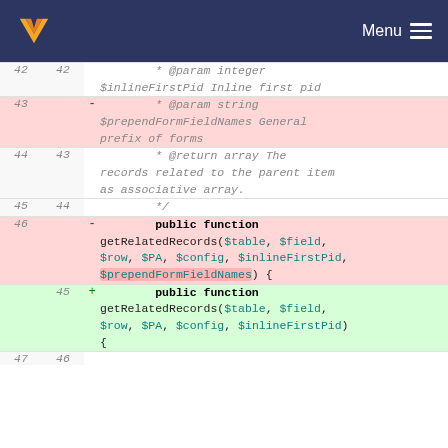Menu
[Figure (screenshot): Code diff view showing PHP function getRelatedRecords with lines 42-46 (old) and 43-45 (new), highlighting removal of $prependFormFieldNames parameter]
42 42 * @param integer $inlineFirstPid Inline first pid
43 - * @param string $prependFormFieldNames General prefix of forms
44 43 * @return array The records related to the parent item as associative array.
45 44 */
46 - public function getRelatedRecords($table, $field, $row, $PA, $config, $inlineFirstPid, $prependFormFieldNames) {
45 + public function getRelatedRecords($table, $field, $row, $PA, $config, $inlineFirstPid) {